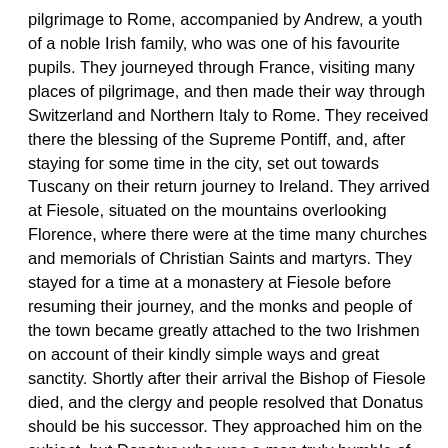pilgrimage to Rome, accompanied by Andrew, a youth of a noble Irish family, who was one of his favourite pupils. They journeyed through France, visiting many places of pilgrimage, and then made their way through Switzerland and Northern Italy to Rome. They received there the blessing of the Supreme Pontiff, and, after staying for some time in the city, set out towards Tuscany on their return journey to Ireland. They arrived at Fiesole, situated on the mountains overlooking Florence, where there were at the time many churches and memorials of Christian Saints and martyrs. They stayed for a time at a monastery at Fiesole before resuming their journey, and the monks and people of the town became greatly attached to the two Irishmen on account of their kindly simple ways and great sanctity. Shortly after their arrival the Bishop of Fiesole died, and the clergy and people resolved that Donatus should be his successor. They approached him on the subject, but Donatus who was a man truly humble of spirit, declined the office. He told them that he was only a poor pilgrim from Ireland, and that he did not wish to be their bishop as he was not fitted for the position since he hardly knew their language or customs. The clergy persisted in their request and at